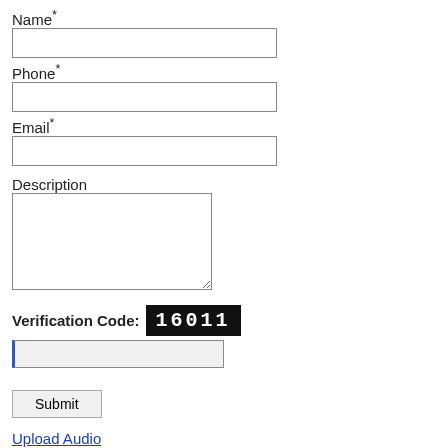Name*
Phone*
Email*
Description
Verification Code: 16011
Submit
Upload Audio
Click here to upload your sample audio for a free trial offer.
Price Estimate
Get Instant Estimate - know the total cost before giving us work!.